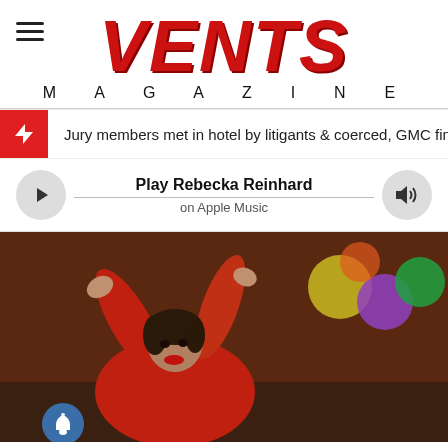VENTS MAGAZINE
Jury members met in hotel by litigants & coerced, GMC finally admits Dr Pr...
Play Rebecka Reinhard on Apple Music
[Figure (photo): Woman in red outfit with arms raised, colorful balloons in background]